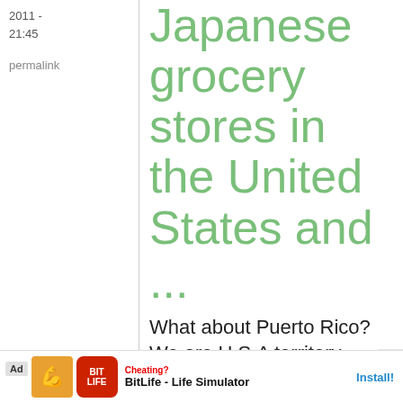2011 - 21:45
permalink
Japanese grocery stores in the United States and ...
What about Puerto Rico? We are U.S.A territory
[Figure (other): Ad banner: BitLife - Life Simulator app advertisement with Install button]